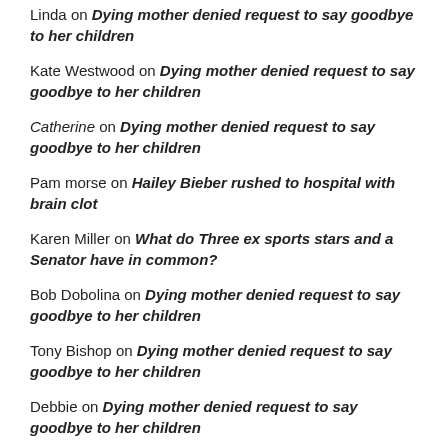Linda on Dying mother denied request to say goodbye to her children
Kate Westwood on Dying mother denied request to say goodbye to her children
Catherine on Dying mother denied request to say goodbye to her children
Pam morse on Hailey Bieber rushed to hospital with brain clot
Karen Miller on What do Three ex sports stars and a Senator have in common?
Bob Dobolina on Dying mother denied request to say goodbye to her children
Tony Bishop on Dying mother denied request to say goodbye to her children
Debbie on Dying mother denied request to say goodbye to her children